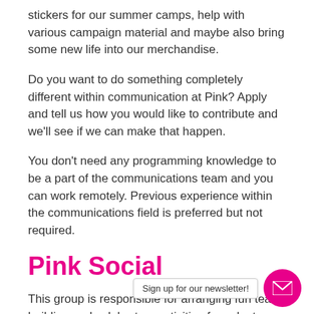stickers for our summer camps, help with various campaign material and maybe also bring some new life into our merchandise.
Do you want to do something completely different within communication at Pink? Apply and tell us how you would like to contribute and we'll see if we can make that happen.
You don't need any programming knowledge to be a part of the communications team and you can work remotely. Previous experience within the communications field is preferred but not required.
Pink Social
This group is responsible for arranging fun team building and celebratory activities for volunteers in Pink! Are you maybe the person who loves to find a theme and just have fun with it. Or maybe you just like to make people feel welcome and comfortable? You'll get to help out to arrange summer and winter